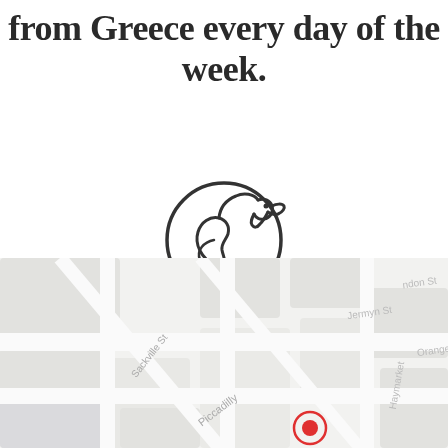from Greece every day of the week.
[Figure (logo): Pelican bird logo inside a circle, outline style, dark gray lines]
[Figure (map): Street map showing London Piccadilly area with streets: Sackville St, Piccadilly, Jermyn St, Haymarket, Orange St, ndon St. A red location pin marker is visible near the bottom center.]